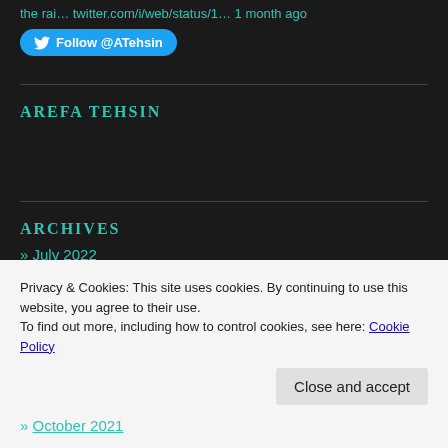the rai… twitter.com/i/web/status/1… 1 month ago
Follow @ATehsin
AREFA TEHSIN
ARCHIVES
» July 2022
Privacy & Cookies: This site uses cookies. By continuing to use this website, you agree to their use.
To find out more, including how to control cookies, see here: Cookie Policy
Close and accept
» October 2021